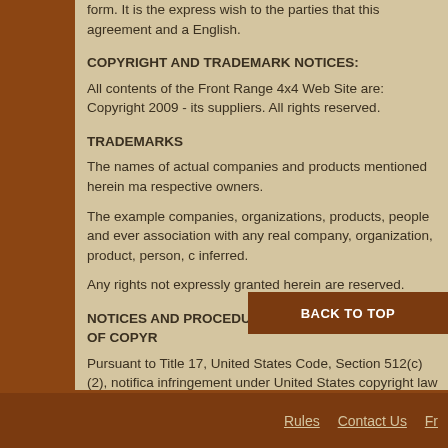form. It is the express wish to the parties that this agreement and a English.
COPYRIGHT AND TRADEMARK NOTICES:
All contents of the Front Range 4x4 Web Site are: Copyright 2009 - its suppliers. All rights reserved.
TRADEMARKS
The names of actual companies and products mentioned herein ma respective owners.
The example companies, organizations, products, people and ever association with any real company, organization, product, person, c inferred.
Any rights not expressly granted herein are reserved.
NOTICES AND PROCEDURE FOR MAKING CLAIMS OF COPYR
Pursuant to Title 17, United States Code, Section 512(c)(2), notifica infringement under United States copyright law should be sent to S ALL INQUIRIES NOT RELEVANT TO THE FOLLOWING PROCED RESPONSE. See Notice and Procedure for Making Claims of Cop
Rules   Contact Us   Fr